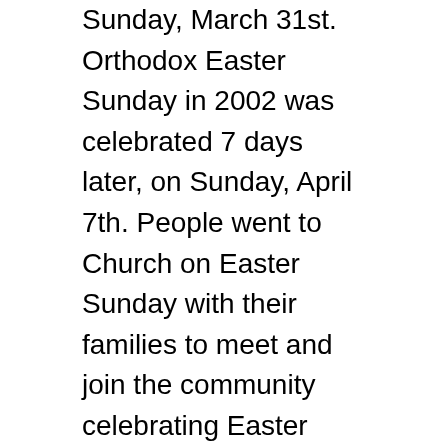Sunday, March 31st. Orthodox Easter Sunday in 2002 was celebrated 7 days later, on Sunday, April 7th. People went to Church on Easter Sunday with their families to meet and join the community celebrating Easter Holiday and kids were decorating the Easter Eggs and playing Easter games.
Every year Easter Sunday is celebrated on the first Sunday following the ecclesiastical full moon. This occurs on or soonest after 21 March (in some years the calculations is varied).
Most Christians including Roman Catholic,